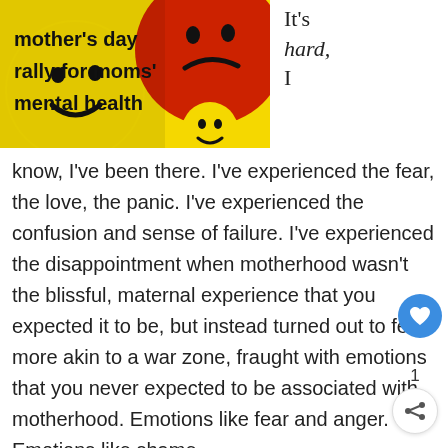[Figure (photo): Photo of yellow smiley face emoji balls and a red sad/frowning emoji ball, with text overlay reading 'mother's day rally for moms' mental health']
It's hard, I
know, I've been there. I've experienced the fear, the love, the panic. I've experienced the confusion and sense of failure. I've experienced the disappointment when motherhood wasn't the blissful, maternal experience that you expected it to be, but instead turned out to feel more akin to a war zone, fraught with emotions that you never expected to be associated with motherhood. Emotions like fear and anger. Emotions like shame.
When my son was born, 4 years ago, it felt like love, terror and panic had braided themselves together inside my heart. I was completely